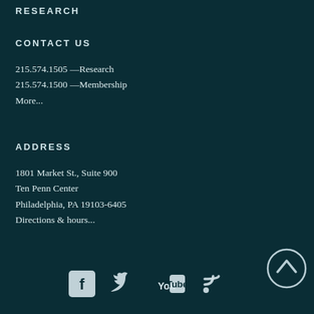RESEARCH
CONTACT US
215.574.1505 —Research
215.574.1500 —Membership
More...
ADDRESS
1801 Market St., Suite 900
Ten Penn Center
Philadelphia, PA 19103-6405
Directions & hours...
[Figure (illustration): Social media icons: Facebook, Twitter, YouTube, RSS feed, and an up/back-to-top arrow button]